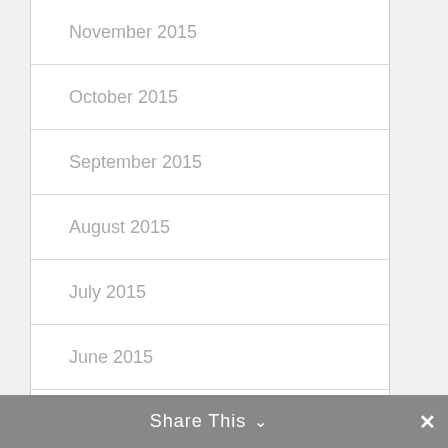November 2015
October 2015
September 2015
August 2015
July 2015
June 2015
May 2015
April 2015
Share This ∨